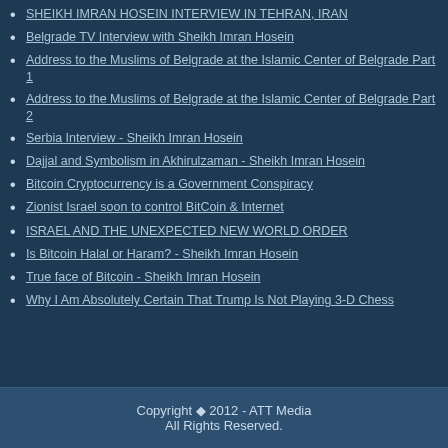SHEIKH IMRAN HOSEIN INTERVIEW IN TEHRAN, IRAN
Belgrade TV Interview with Sheikh Imran Hosein
Address to the Muslims of Belgrade at the Islamic Center of Belgrade Part 1
Address to the Muslims of Belgrade at the Islamic Center of Belgrade Part 2
Serbia Interview - Sheikh Imran Hosein
Dajjal and Symbolism in Akhirulzaman - Sheikh Imran Hosein
Bitcoin Cryptocurrency is a Government Conspiracy
Zionist Israel soon to control BitCoin & Internet
ISRAEL AND THE UNEXPECTED NEW WORLD ORDER
Is Bitcoin Halal or Haram? - Sheikh Imran Hosein
True face of Bitcoin - Sheikh Imran Hosein
Why I Am Absolutely Certain That Trump Is Not Playing 3-D Chess
Copyright © 2012 - ATT Media All Rights Reserved.